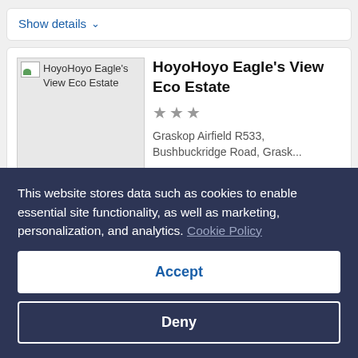Show details ∨
HoyoHoyo Eagle's View Eco Estate
★★★
Graskop Airfield R533, Bushbuckridge Road, Grask...
Get rates
This website stores data such as cookies to enable essential site functionality, as well as marketing, personalization, and analytics. Cookie Policy
Accept
Deny